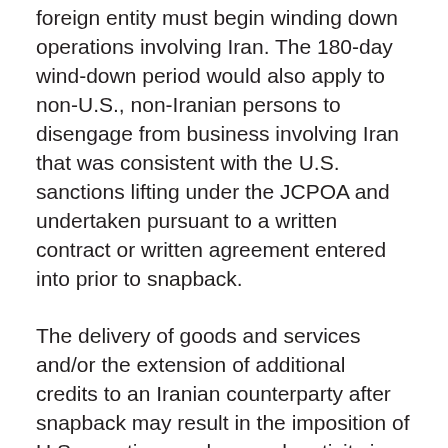foreign entity must begin winding down operations involving Iran. The 180-day wind-down period would also apply to non-U.S., non-Iranian persons to disengage from business involving Iran that was consistent with the U.S. sanctions lifting under the JCPOA and undertaken pursuant to a written contract or written agreement entered into prior to snapback.
The delivery of goods and services and/or the extension of additional credits to an Iranian counterparty after snapback may result in the imposition of U.S. sanctions, unless such activity is deemed necessary to wind-down operations. The U.S. government would evaluate such matters on a case-by-case basis. OFAC will publish additional guidance if U.S. sanctions are